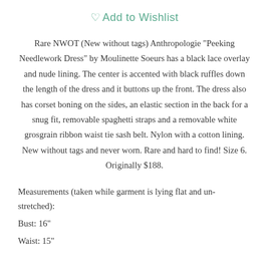♡ Add to Wishlist
Rare NWOT (New without tags) Anthropologie "Peeking Needlework Dress" by Moulinette Soeurs has a black lace overlay and nude lining. The center is accented with black ruffles down the length of the dress and it buttons up the front. The dress also has corset boning on the sides, an elastic section in the back for a snug fit, removable spaghetti straps and a removable white grosgrain ribbon waist tie sash belt. Nylon with a cotton lining. New without tags and never worn. Rare and hard to find! Size 6. Originally $188.
Measurements (taken while garment is lying flat and un-stretched):
Bust: 16"
Waist: 15"